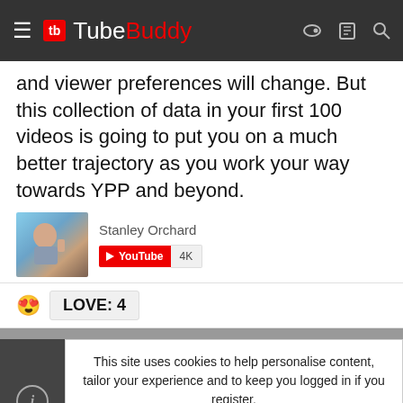TubeBuddy
and viewer preferences will change. But this collection of data in your first 100 videos is going to put you on a much better trajectory as you work your way towards YPP and beyond.
Stanley Orchard · YouTube 4K
😍 LOVE: 4
This site uses cookies to help personalise content, tailor your experience and to keep you logged in if you register. By continuing to use this site, you are consenting to our use of cookies.
ACCEPT   LEARN MORE